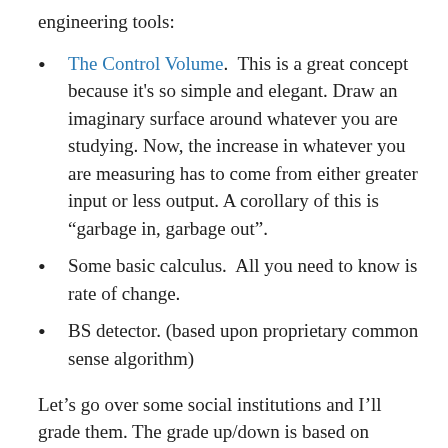engineering tools:
The Control Volume.  This is a great concept because it's so simple and elegant. Draw an imaginary surface around whatever you are studying. Now, the increase in whatever you are measuring has to come from either greater input or less output. A corollary of this is “garbage in, garbage out”.
Some basic calculus.  All you need to know is rate of change.
BS detector. (based upon proprietary common sense algorithm)
Let’s go over some social institutions and I’ll grade them. The grade up/down is based on whether I (using my tools above) judge